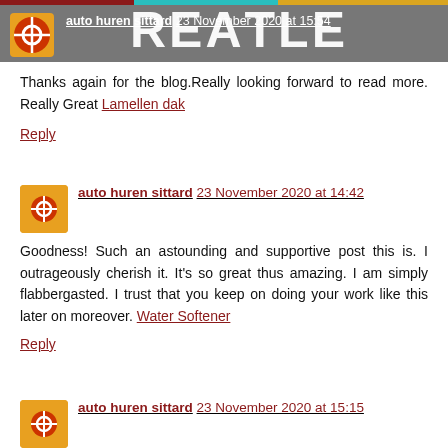auto huren sittard 23 November 2020 at 15:54
Thanks again for the blog.Really looking forward to read more. Really Great Lamellen dak
Reply
auto huren sittard 23 November 2020 at 14:42
Goodness! Such an astounding and supportive post this is. I outrageously cherish it. It's so great thus amazing. I am simply flabbergasted. I trust that you keep on doing your work like this later on moreover. Water Softener
Reply
auto huren sittard 23 November 2020 at 15:15